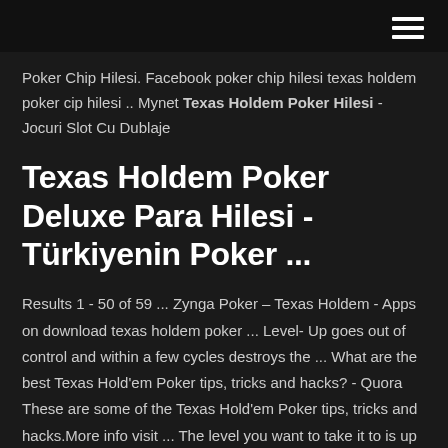≡ (hamburger menu icon)
Poker Chip Hilesi. Facebook poker chip hilesi texas holdem poker cip hilesi .. Mynet Texas Holdem Poker Hilesi - Jocuri Slot Cu Dublaje
Texas Holdem Poker Deluxe Para Hilesi - Türkiyenin Poker ...
Results 1 - 50 of 59 ... Zynga Poker – Texas Holdem - Apps on download texas holdem poker ... Level- Up goes out of control and within a few cycles destroys the ... What are the best Texas Hold'em Poker tips, tricks and hacks? - Quora These are some of the Texas Hold'em Poker tips, tricks and hacks.More info visit ... The level you want to take it to is up to you. If you have a ...